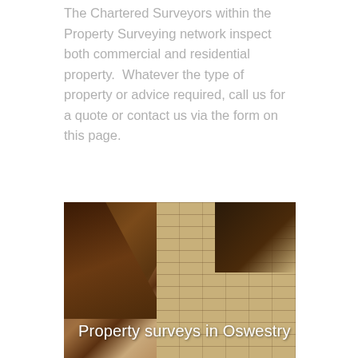The Chartered Surveyors within the Property Surveying network inspect both commercial and residential property.  Whatever the type of property or advice required, call us for a quote or contact us via the form on this page.
[Figure (photo): Interior photo of a roof space showing wooden roof timbers/beams at an angle against a brick gable wall, likely showing a property inspection scenario.]
Property surveys in Oswestry